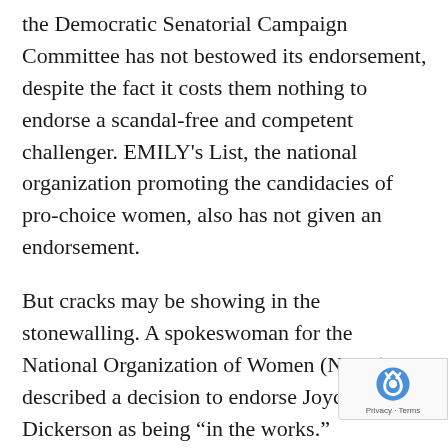the Democratic Senatorial Campaign Committee has not bestowed its endorsement, despite the fact it costs them nothing to endorse a scandal-free and competent challenger. EMILY's List, the national organization promoting the candidacies of pro-choice women, also has not given an endorsement.
But cracks may be showing in the stonewalling. A spokeswoman for the National Organization of Women (NOW) described a decision to endorse Joyce Dickerson as being “in the works.”
Meanwhile, the candidate is a happy warrior on her shoestring budget. She travels across the state in her green Ford Explorer, puts up her own signs by intersections, and coordinates with county chair when she can, hoping to build up a grassroots army